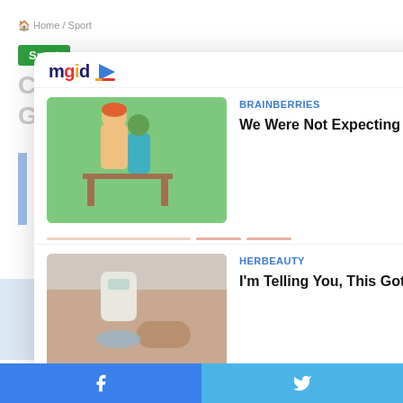🏠 Home / Sport
Sport
College Athletes Cash in as Generations of Rules Fade
[Figure (screenshot): MGID content recommendation widget overlay showing two sponsored article cards. First card from BRAINBERRIES with image of animated characters near green screen: 'We Were Not Expecting The Princess To Use Her Feet Like That'. Second card from HERBEAUTY with image of person applying cream to legs: 'I'm Telling You, This Got Rid Of My Strawberry Legs In 3 Days'. Widget has MGID logo with play button icon and an X close button.]
BRAINBERRIES
We Were Not Expecting The Princess To Use Her Feet Like That
HERBEAUTY
I'm Telling You, This Got Rid Of My Strawberry Legs In 3 Days
Facebook share | Twitter share